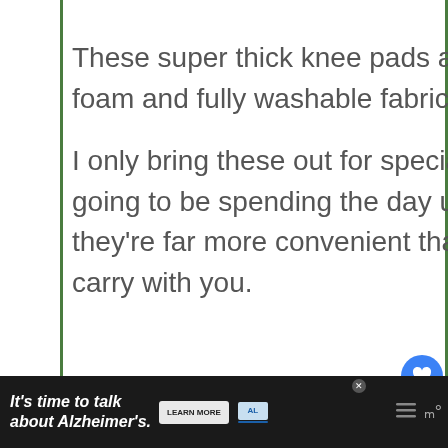These super thick knee pads are breathable, and built from memory foam and fully washable fabric, with great quality stitching.
I only bring these out for special occasions, but if you know you're going to be spending the day up and down around the garden, they're far more convenient than garden kneelers that you need to carry with you.
PS. Don't make a fool of yourself when you
[Figure (screenshot): UI overlay showing heart/like button (blue circle), share panel with count 2, Privacy/Terms link, and What's Next panel with Best Post Hole Diggers link.]
[Figure (screenshot): Advertisement bar at bottom: It's time to talk about Alzheimer's. LEARN MORE button, Alzheimer's Association logo, close X button, and dots/more icon.]